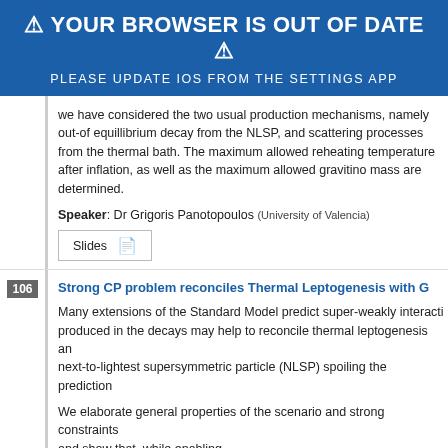⚠ YOUR BROWSER IS OUT OF DATE ⚠
PLEASE UPDATE IOS FROM THE SETTINGS APP
we have considered the two usual production mechanisms, namely out-of equillibrium decay from the NLSP, and scattering processes from the thermal bath. The maximum allowed reheating temperature after inflation, as well as the maximum allowed gravitino mass are determined.
Speaker: Dr Grigoris Panotopoulos (University of Valencia)
[Figure (other): Slides button with PDF icon]
Strong CP problem reconciles Thermal Leptogenesis with G
Many extensions of the Standard Model predict super-weakly interacti... produced in the decays may help to reconcile thermal leptogenesis an... next-to-lightest supersymmetric particle (NLSP) spoiling the prediction...
We elaborate general properties of the scenario and strong constraints... and show that, while enabling
a solution of the strong CP problem, it can also produce a suitable am...